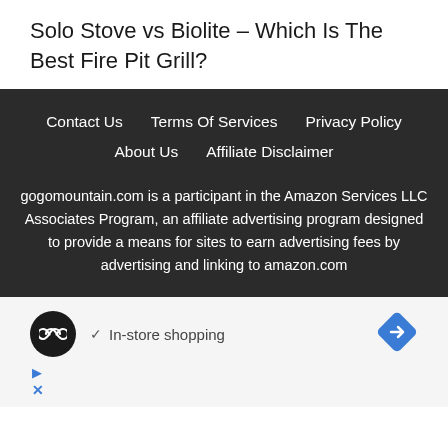Solo Stove vs Biolite – Which Is The Best Fire Pit Grill?
Contact Us   Terms Of Services   Privacy Policy   About Us   Affiliate Disclaimer

gogomountain.com is a participant in the Amazon Services LLC Associates Program, an affiliate advertising program designed to provide a means for sites to earn advertising fees by advertising and linking to amazon.com
[Figure (screenshot): Advertisement banner showing a store icon with infinity symbol, a checkmark with 'In-store shopping' text, and a blue diamond navigation arrow icon. Below are play and close icons in blue.]